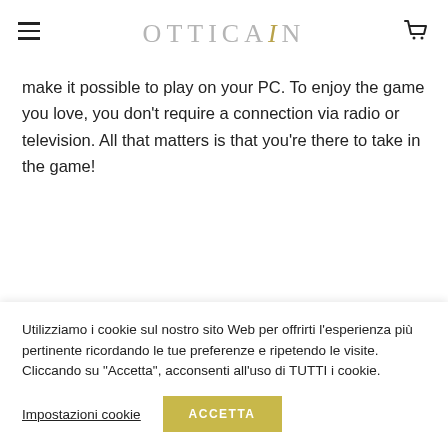OTTICAIN
make it possible to play on your PC. To enjoy the game you love, you don't require a connection via radio or television. All that matters is that you're there to take in the game!
Utilizziamo i cookie sul nostro sito Web per offrirti l'esperienza più pertinente ricordando le tue preferenze e ripetendo le visite. Cliccando su "Accetta", acconsenti all'uso di TUTTI i cookie.
Impostazioni cookie
ACCETTA